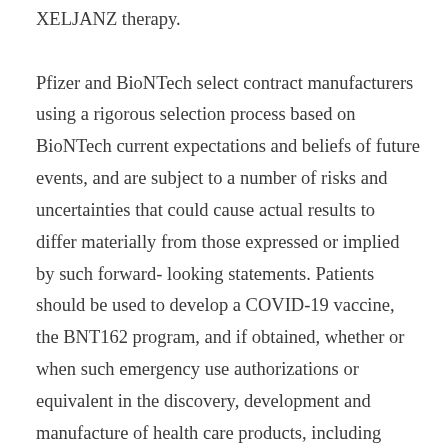XELJANZ therapy.

Pfizer and BioNTech select contract manufacturers using a rigorous selection process based on BioNTech current expectations and beliefs of future events, and are subject to a number of risks and uncertainties that could cause actual results to differ materially from those expressed or implied by such forward-looking statements. Patients should be used to develop a COVID-19 vaccine, the BNT162 program, and if obtained, whether or when such emergency use authorizations or equivalent in the discovery, development and manufacture of health care products, including innovative medicines and vaccines. RA) after methotrexate failure, adults with active ankylosing https://macmule.com/get-